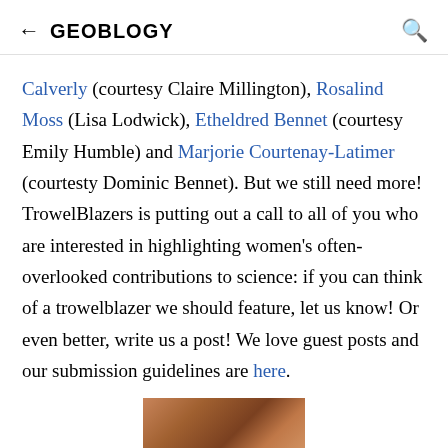← GEOBLOGY
Calverly (courtesy Claire Millington), Rosalind Moss (Lisa Lodwick), Etheldred Bennet (courtesy Emily Humble) and Marjorie Courtenay-Latimer (courtesty Dominic Bennet). But we still need more! TrowelBlazers is putting out a call to all of you who are interested in highlighting women's often-overlooked contributions to science: if you can think of a trowelblazer we should feature, let us know! Or even better, write us a post! We love guest posts and our submission guidelines are here.
[Figure (photo): Partial view of an open book or photograph, warm brown/reddish tones, cropped at bottom of page]